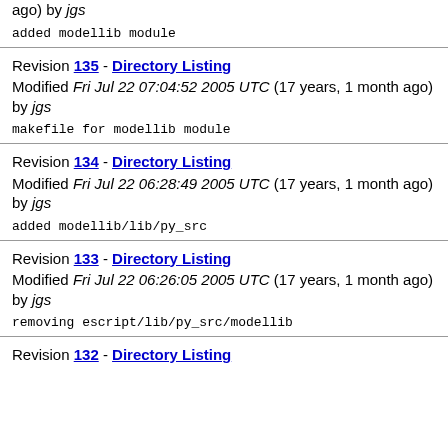ago) by jgs
added modellib module
Revision 135 - Directory Listing
Modified Fri Jul 22 07:04:52 2005 UTC (17 years, 1 month ago) by jgs
makefile for modellib module
Revision 134 - Directory Listing
Modified Fri Jul 22 06:28:49 2005 UTC (17 years, 1 month ago) by jgs
added modellib/lib/py_src
Revision 133 - Directory Listing
Modified Fri Jul 22 06:26:05 2005 UTC (17 years, 1 month ago) by jgs
removing escript/lib/py_src/modellib
Revision 132 - Directory Listing